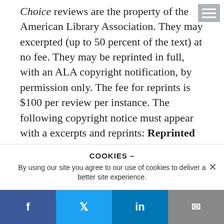Choice reviews are the property of the American Library Association. They may excerpted (up to 50 percent of the text) at no fee. They may be reprinted in full, with an ALA copyright notification, by permission only. The fee for reprints is $100 per review per instance. The following copyright notice must appear with a excerpts and reprints: Reprinted with permission from CHOICE http://www.choicereviews.org, copyright by the American Library Association. To request reprint/s please send a check for the appropriate amount to the address below, indicating the review/s that the check covers. Checks should be made out to Choice
COOKIES –
By using our site you agree to our use of cookies to deliver a better site experience.